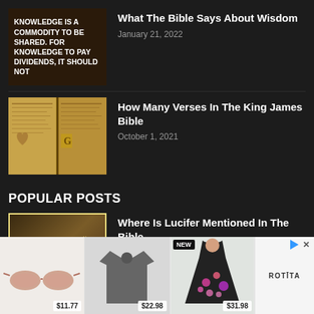[Figure (photo): Dark brown background with bold white uppercase text: KNOWLEDGE IS A COMMODITY TO BE SHARED. FOR KNOWLEDGE TO PAY DIVIDENDS, IT SHOULD NOT]
What The Bible Says About Wisdom
January 21, 2022
[Figure (photo): Aged golden-brown pages of a Bible or scripture book, open spread view]
How Many Verses In The King James Bible
October 1, 2021
POPULAR POSTS
[Figure (photo): Dark golden-brown image with italic text: How are thou cut down to the ground, which did]
Where Is Lucifer Mentioned In The Bible
November 10, 2021
[Figure (other): Advertisement banner with three product images (sunglasses $11.77, grey shirt $22.98, floral dress NEW $31.98) and ROTITA brand logo]